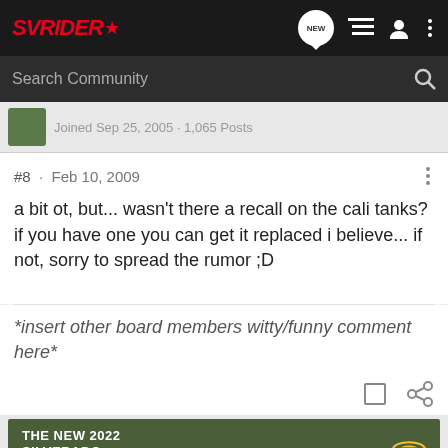SVRIDER* — navigation bar with NEW, list, user, menu icons and Search Community
Joined Sep 25, 2005 · 1,065 Posts
#8 · Feb 10, 2009
a bit ot, but... wasn't there a recall on the cali tanks? if you have one you can get it replaced i believe... if not, sorry to spread the rumor ;D
*insert other board members witty/funny comment here*
[Figure (photo): Chevrolet Silverado 2022 advertisement banner with truck image, Explore button, and Chevrolet logo]